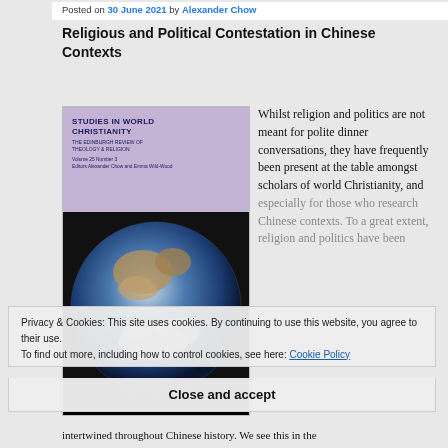Posted on 30 June 2021 by Alexander Chow
Religious and Political Contestation in Chinese Contexts
[Figure (photo): Book cover of Studies in World Christianity: The Edinburgh Review of Theology & Religion, Volume 25 Number 3, Editors Alexander Chow and Emma Wild-Wood, showing a globe image on the cover, published by Edinburgh University Press]
Whilst religion and politics are not meant for polite dinner conversations, they have frequently been present at the table amongst scholars of world Christianity, and especially for those who research Chinese contexts. To a great extent, religion and politics have been intertwined throughout Chinese history. We see this in the
Privacy & Cookies: This site uses cookies. By continuing to use this website, you agree to their use.
To find out more, including how to control cookies, see here: Cookie Policy
Close and accept